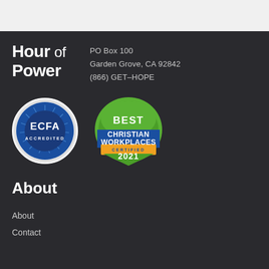Hour of Power
PO Box 100
Garden Grove, CA 92842
(866) GET-HOPE
[Figure (logo): ECFA Accredited circular badge with blue and white design]
[Figure (logo): Best Christian Workplaces Certified 2021 badge with green, blue and gold colors]
About
About
Contact